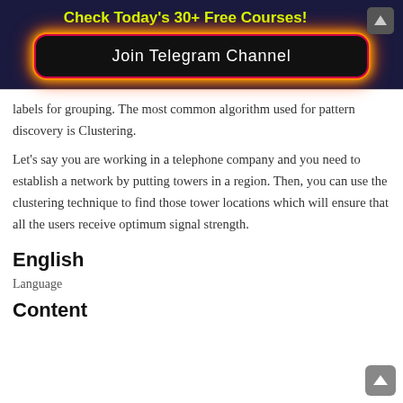Check Today's 30+ Free Courses!
[Figure (other): Join Telegram Channel button with glowing border on dark navy background]
labels for grouping. The most common algorithm used for pattern discovery is Clustering.
Let’s say you are working in a telephone company and you need to establish a network by putting towers in a region. Then, you can use the clustering technique to find those tower locations which will ensure that all the users receive optimum signal strength.
English
Language
Content